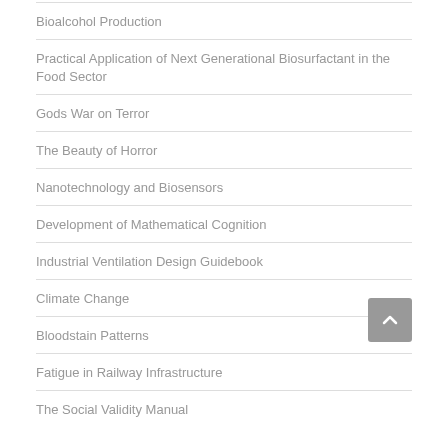Bioalcohol Production
Practical Application of Next Generational Biosurfactant in the Food Sector
Gods War on Terror
The Beauty of Horror
Nanotechnology and Biosensors
Development of Mathematical Cognition
Industrial Ventilation Design Guidebook
Climate Change
Bloodstain Patterns
Fatigue in Railway Infrastructure
The Social Validity Manual